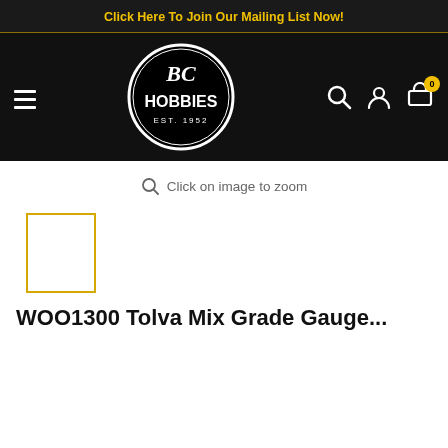Click Here To Join Our Mailing List Now!
[Figure (logo): BC Hobbies logo — white circle with BC HOBBIES EST. 1952 text on black background, with hamburger menu icon and cart/user icons]
Click on image to zoom
[Figure (photo): Small product thumbnail with yellow/gold border, white interior, selected state]
WOO1300 Tolva Mix Grade Gauge...